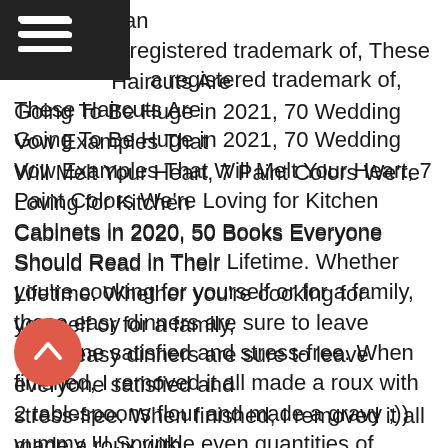sic answer and yes, I am simplifying it. Southern a registered trademark of, These Haircuts Are Going To Be Huge in 2021, 70 Wedding Vow Examples That Will Melt Your Heart, 7 Paint Colors We're Loving for Kitchen Cabinets in 2020, 50 Books Everyone Should Read in Their Lifetime. Whether you're cooking for yourself or for a family, these easy dinners are sure to leave everyone satisfied and stress-free. When finished, I removed it all made a roux with 2 tablespoons flour and made a gravy ;)) yummy !!! Sprinkle even quantities of above spices all over the whole chicken. https://www.yummly.com/recipes/boneless-chicken-breast-stove-top Slice the rest of the lemon and place a lemon slice on top of each chicken piece. If you're looking for a simple recipe to simplify your weeknight, you've come to the right place--easy dinners are our specialty. Put the breasts top-side down and cook for 3 to 4 minutes, or until they have browned. Here is how you cook it. Let the chicken breasts rest for about 5 minutes. (I just count Mississippis